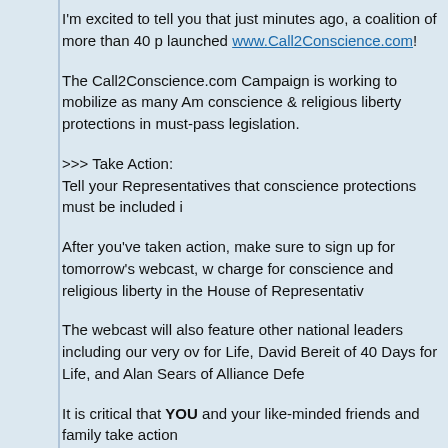I'm excited to tell you that just minutes ago, a coalition of more than 40 p launched www.Call2Conscience.com!
The Call2Conscience.com Campaign is working to mobilize as many Am conscience & religious liberty protections in must-pass legislation.
>>> Take Action:
Tell your Representatives that conscience protections must be included i
After you've taken action, make sure to sign up for tomorrow's webcast, w charge for conscience and religious liberty in the House of Representativ
The webcast will also feature other national leaders including our very ov for Life, David Bereit of 40 Days for Life, and Alan Sears of Alliance Defe
It is critical that YOU and your like-minded friends and family take action
You see, Congress will soon be considering must-pass legislation that wi conscience protections are included in this legislation.
>>> Take Action: Tell your Representatives that conscience protections must be included in must-pass legislation.
We must take a stand to ensure that all Americans are guaranteed freedom of conscience in their daily lives and work.